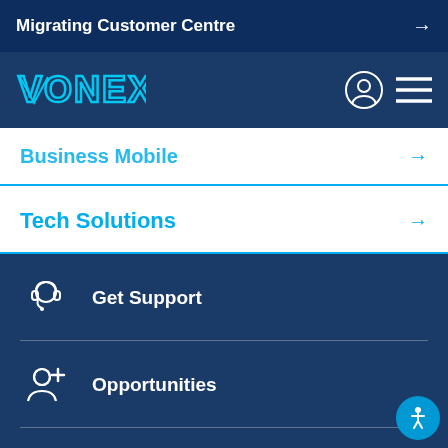Migrating Customer Centre →
[Figure (logo): VONEX logo in white/cyan outline style on dark blue navbar, with user account icon and hamburger menu icon]
Business Mobile →
Tech Solutions →
Get Support
Opportunities
My Account